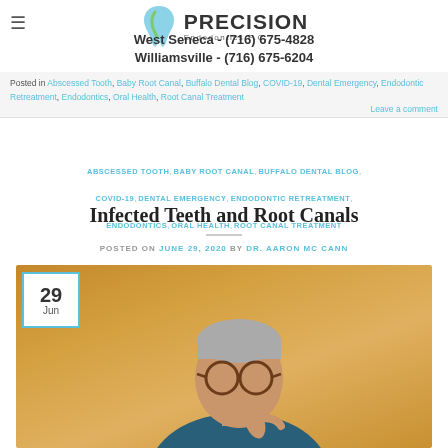Precision Endodontics P.C. — West Seneca (716) 675-4828 | Williamsville (716) 675-6204
Posted in Abscessed Tooth, Baby Root Canal, Buffalo Dental Blog, COVID-19, Dental Emergency, Endodontic Retreatment, Endodontics, Oral Health, Root Canal Treatment | Leave a comment
ABSCESSED TOOTH, BABY ROOT CANAL, BUFFALO DENTAL BLOG, COVID-19, DENTAL EMERGENCY, ENDODONTIC RETREATMENT, ENDODONTICS, ORAL HEALTH, ROOT CANAL TREATMENT
Infected Teeth and Root Canals
POSTED ON JUNE 29, 2020 BY DR. AARON MC CANN
[Figure (photo): Middle-aged man with glasses touching his jaw/cheek in pain, orange/golden background, with a date badge showing 29 Jun in top left corner]